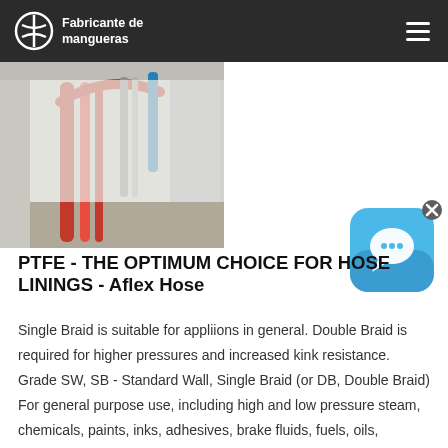Fabricante de mangueras
[Figure (photo): Industrial corridor with red and blue hoses/pipes running along walls and ceiling of a white-walled tunnel]
[Figure (other): Blue chat/messaging app widget icon with white speech bubble, with an x close button]
PTFE - THE OPTIMUM CHOICE FOR HOSE LININGS - Aflex Hose
Single Braid is suitable for appliions in general. Double Braid is required for higher pressures and increased kink resistance. Grade SW, SB - Standard Wall, Single Braid (or DB, Double Braid) For general purpose use, including high and low pressure steam, chemicals, paints, inks, adhesives, brake fluids, fuels, oils, detergents,